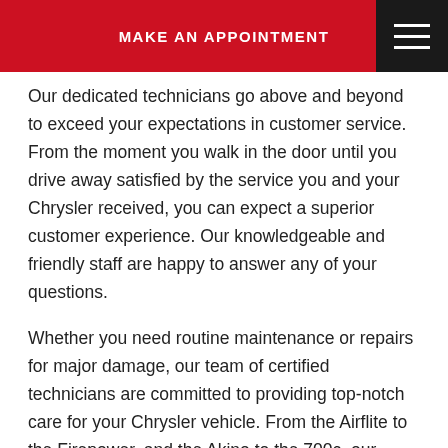MAKE AN APPOINTMENT
Our dedicated technicians go above and beyond to exceed your expectations in customer service. From the moment you walk in the door until you drive away satisfied by the service you and your Chrysler received, you can expect a superior customer experience. Our knowledgeable and friendly staff are happy to answer any of your questions.
Whether you need routine maintenance or repairs for major damage, our team of certified technicians are committed to providing top-notch care for your Chrysler vehicle. From the Airflite to the Firepower, and the Akino to the 700c, our team is experienced with all of the Chrysler models. We don't just stop at getting the job done under the hood—we make sure that you and your Chrysler receive the best service available.
Call our shop or stop in to schedule your service appointment